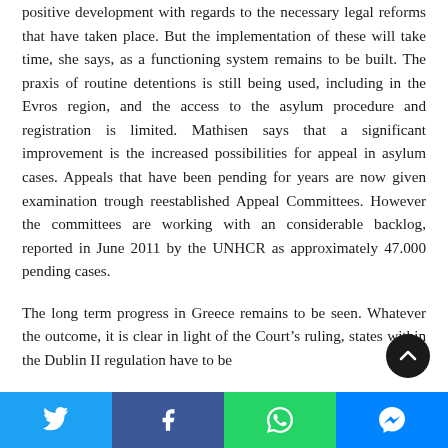positive development with regards to the necessary legal reforms that have taken place. But the implementation of these will take time, she says, as a functioning system remains to be built. The praxis of routine detentions is still being used, including in the Evros region, and the access to the asylum procedure and registration is limited. Mathisen says that a significant improvement is the increased possibilities for appeal in asylum cases. Appeals that have been pending for years are now given examination trough reestablished Appeal Committees. However the committees are working with an considerable backlog, reported in June 2011 by the UNHCR as approximately 47.000 pending cases.
The long term progress in Greece remains to be seen. Whatever the outcome, it is clear in light of the Court's ruling, states within the Dublin II regulation have to be